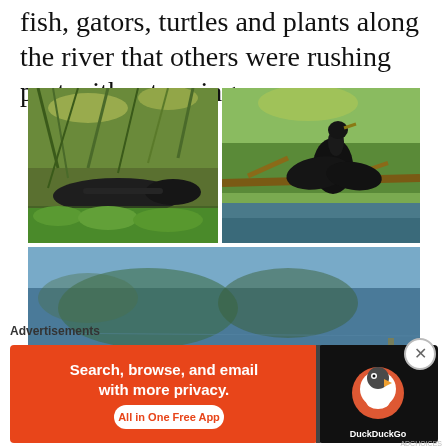fish, gators, turtles and plants along the river that others were rushing past without seeing.
[Figure (photo): Three wildlife photos: top-left shows an alligator among river vegetation; top-right shows a bird (anhinga/cormorant) perched on branches over water; bottom shows a wide river scene with tree reflections and a turtle visible on the water surface.]
Advertisements
[Figure (other): DuckDuckGo advertisement banner: orange left panel reading 'Search, browse, and email with more privacy. All in One Free App', right dark panel with DuckDuckGo duck logo and 'DuckDuckGo' text.]